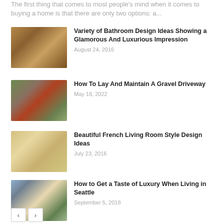The first thing that comes to most people's mind when it comes to buying a home is that there are only two options: a...
Variety of Bathroom Design Ideas Showing a Glamorous And Luxurious Impression
August 24, 2016
[Figure (photo): Glamorous bathroom interior with warm golden lighting]
How To Lay And Maintain A Gravel Driveway
May 18, 2022
[Figure (photo): Gravel driveway leading to a brick house with greenery]
Beautiful French Living Room Style Design Ideas
July 23, 2016
[Figure (photo): Elegant French-style living room with chandeliers and ornate furniture]
How to Get a Taste of Luxury When Living in Seattle
September 5, 2018
[Figure (photo): Luxury home exterior in Seattle with manicured landscaping]